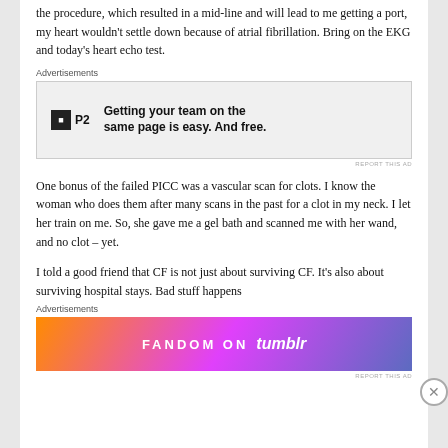the procedure, which resulted in a mid-line and will lead to me getting a port, my heart wouldn't settle down because of atrial fibrillation. Bring on the EKG and today's heart echo test.
[Figure (screenshot): Advertisement for P2 product with text: Getting your team on the same page is easy. And free.]
One bonus of the failed PICC was a vascular scan for clots. I know the woman who does them after many scans in the past for a clot in my neck. I let her train on me. So, she gave me a gel bath and scanned me with her wand, and no clot – yet.
I told a good friend that CF is not just about surviving CF. It's also about surviving hospital stays. Bad stuff happens
[Figure (screenshot): Advertisement for Fandom on Tumblr with colorful gradient background.]